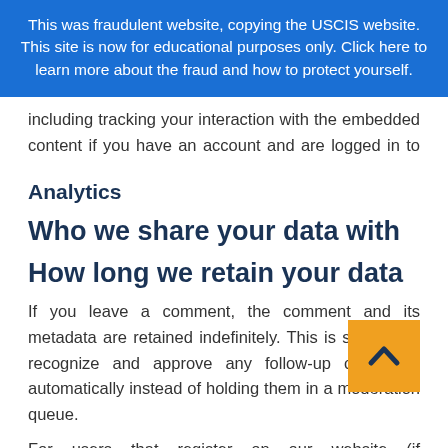This was fraudulent website, copying the USCIS website. This site is now for educational purposes only. Click here to learn more about the fraud and how to protect yourself.
including tracking your interaction with the embedded content if you have an account and are logged in to that website.
Analytics
Who we share your data with
How long we retain your data
If you leave a comment, the comment and its metadata are retained indefinitely. This is so we can recognize and approve any follow-up comments automatically instead of holding them in a moderation queue.
For users that register on our website (if any), also store the personal information they provide in their